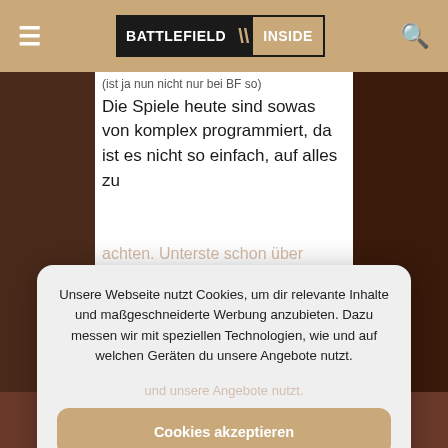BATTLEFIELD INSIDE
(ist ja nun nicht nur bei BF so) Die Spiele heute sind sowas von komplex programmiert, da ist es nicht so einfach, auf alles zu achten. Unterste schon über
Unsere Webseite nutzt Cookies, um dir relevante Inhalte und maßgeschneiderte Werbung anzubieten. Dazu messen wir mit speziellen Technologien, wie und auf welchen Geräten du unsere Angebote nutzt.
Cookies akzeptieren
Einstellungen
ein Fenster hocken, gehören und dann Freudline und
[Figure (screenshot): Battlefield Inside website with cookie consent modal overlay. Top navigation bar with hamburger menu, Battlefield Inside logo, and search icon on tan/khaki background. Cookie consent popup with accept and settings buttons.]